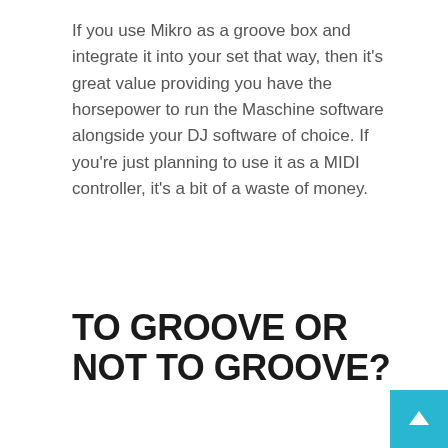If you use Mikro as a groove box and integrate it into your set that way, then it's great value providing you have the horsepower to run the Maschine software alongside your DJ software of choice. If you're just planning to use it as a MIDI controller, it's a bit of a waste of money.
TO GROOVE OR NOT TO GROOVE?
[Figure (photo): Photo of a Maschine Mikro drum pad controller on a wooden surface, with USB cable connected. The device shows 16 pads arranged in a 4x4 grid, various buttons and a display screen. A blue scroll-to-top button appears in the bottom-right corner.]